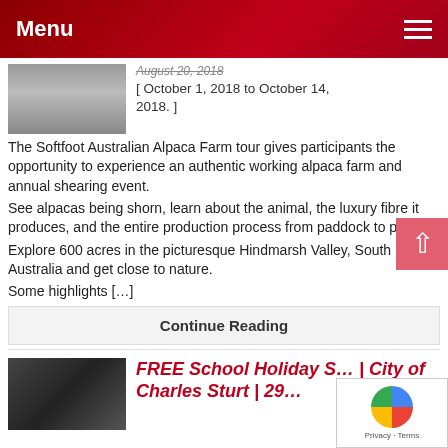Menu
August 20, 2018
[ October 1, 2018 to October 14, 2018. ]
The Softfoot Australian Alpaca Farm tour gives participants the opportunity to experience an authentic working alpaca farm and annual shearing event.
See alpacas being shorn, learn about the animal, the luxury fibre it produces, and the entire production process from paddock to product.
Explore 600 acres in the picturesque Hindmarsh Valley, South Australia and get close to nature.
Some highlights […]
Continue Reading
FREE School Holiday S… | City of Charles Sturt | 29…